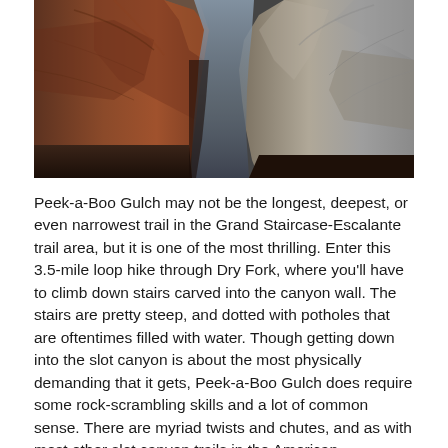[Figure (photo): Interior view of a narrow slot canyon with tall reddish-brown sandstone walls curving upward. The passage is very narrow, with smooth, wave-like rock formations on either side. The floor is rocky and the light comes from above through the thin opening.]
Peek-a-Boo Gulch may not be the longest, deepest, or even narrowest trail in the Grand Staircase-Escalante trail area, but it is one of the most thrilling. Enter this 3.5-mile loop hike through Dry Fork, where you'll have to climb down stairs carved into the canyon wall. The stairs are pretty steep, and dotted with potholes that are oftentimes filled with water. Though getting down into the slot canyon is about the most physically demanding that it gets, Peek-a-Boo Gulch does require some rock-scrambling skills and a lot of common sense. There are myriad twists and chutes, and as with most other slot canyon trails in the American Southwest, heat can be an issue.